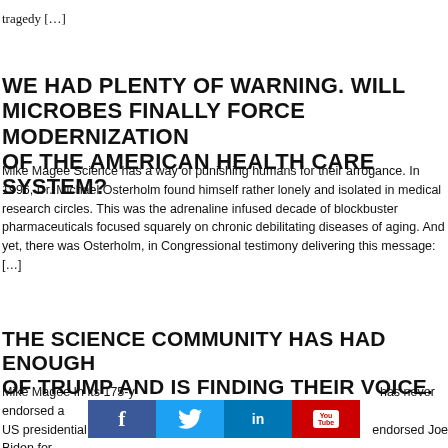tragedy […]
WE HAD PLENTY OF WARNING. WILL MICROBES FINALLY FORCE MODERNIZATION OF THE AMERICAN HEALTH CARE SYSTEM?
Mike Magee Science has a way of punishing humans for their arrogance. In 1996, Dr. Michael Osterholm found himself rather lonely and isolated in medical research circles. This was the adrenaline infused decade of blockbuster pharmaceuticals focused squarely on chronic debilitating diseases of aging. And yet, there was Osterholm, in Congressional testimony delivering this message: […]
THE SCIENCE COMMUNITY HAS HAD ENOUGH OF TRUMP AND IS FINDING THEIR VOICE.
Mike Magee In its 175-y… has never endorsed a US presidential candida… endorsed Joe Biden for
[Figure (infographic): Social media share bar with Facebook (blue), Twitter (light blue), LinkedIn (dark blue), and YouTube (red) icons]